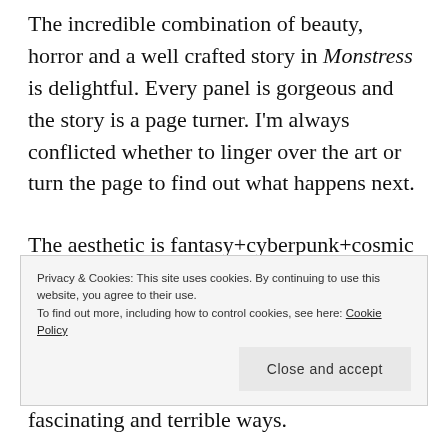The incredible combination of beauty, horror and a well crafted story in Monstress is delightful. Every panel is gorgeous and the story is a page turner. I'm always conflicted whether to linger over the art or turn the page to find out what happens next.
The aesthetic is fantasy+cyberpunk+cosmic horror. The main character Maika Halfwolf is trying to find out who she is, what she is and what her mother was after.
fascinating and terrible ways.
Privacy & Cookies: This site uses cookies. By continuing to use this website, you agree to their use.
To find out more, including how to control cookies, see here: Cookie Policy